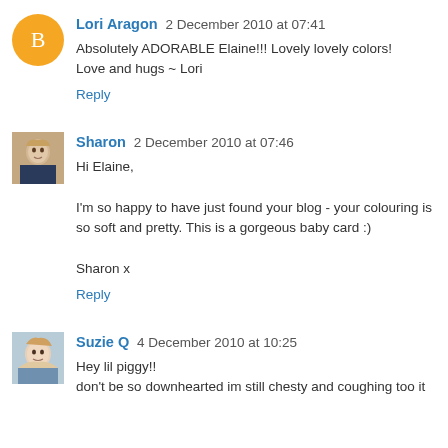Lori Aragon 2 December 2010 at 07:41
Absolutely ADORABLE Elaine!!! Lovely lovely colors!
Love and hugs ~ Lori
Reply
Sharon 2 December 2010 at 07:46
Hi Elaine,
I'm so happy to have just found your blog - your colouring is so soft and pretty. This is a gorgeous baby card :)
Sharon x
Reply
Suzie Q 4 December 2010 at 10:25
Hey lil piggy!!
don't be so downhearted im still chesty and coughing too it